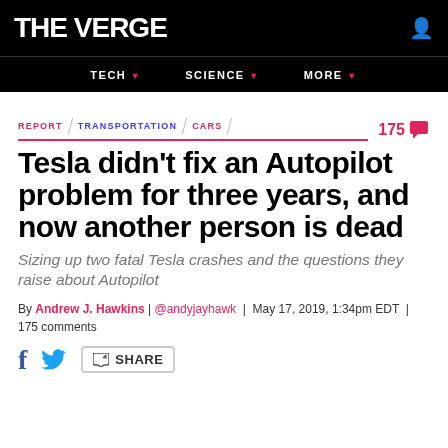THE VERGE
TECH | SCIENCE | MORE
REPORT / TRANSPORTATION / CARS  175
Tesla didn’t fix an Autopilot problem for three years, and now another person is dead
Sizing up two fatal Tesla crashes and the questions they raise about Autopilot
By Andrew J. Hawkins | @andyjayhawk | May 17, 2019, 1:34pm EDT | 175 comments
SHARE